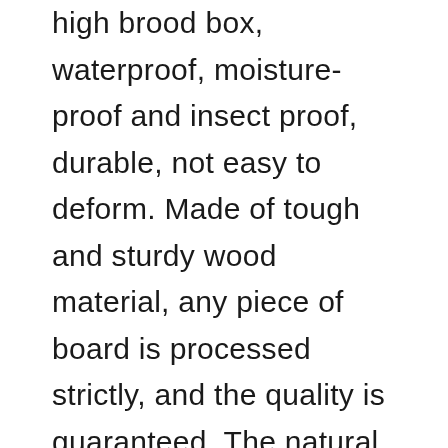high brood box, waterproof, moisture-proof and insect proof, durable, not easy to deform. Made of tough and sturdy wood material, any piece of board is processed strictly, and the quality is guaranteed. The natural wood will keep the honey from pollution, and can make the honey produced safer, more natural and fresh. With a galvanized metal cap roof, rain-proof, wind-proof and sunproof, so it can provide a more secure house for your bees. Specification: Main Colour: Wood Color Material: Natural Wood Overall Size: As the picture shown Package Included: (Please Drop Down The Menu to Choice) 1x Beehive Box OR 10x Beehive Frame. Do not deliver the goods to the Zip code GY/JE address. There will be additional charges to Northern Ireland, Southern Ireland, Scottish Highlands and the other remote areas.